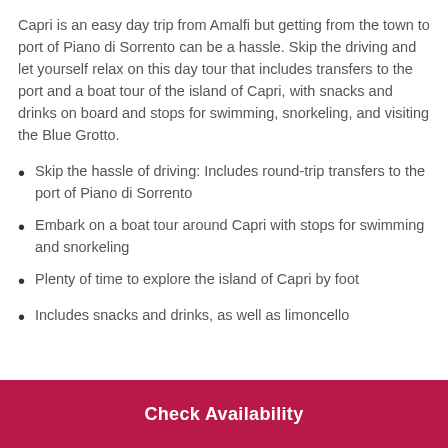Capri is an easy day trip from Amalfi but getting from the town to port of Piano di Sorrento can be a hassle. Skip the driving and let yourself relax on this day tour that includes transfers to the port and a boat tour of the island of Capri, with snacks and drinks on board and stops for swimming, snorkeling, and visiting the Blue Grotto.
Skip the hassle of driving: Includes round-trip transfers to the port of Piano di Sorrento
Embark on a boat tour around Capri with stops for swimming and snorkeling
Plenty of time to explore the island of Capri by foot
Includes snacks and drinks, as well as limoncello
Check Availability